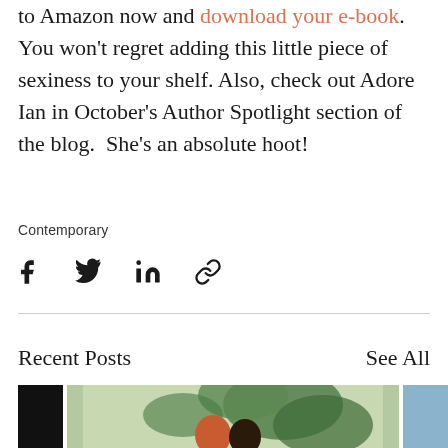to Amazon now and download your e-book. You won't regret adding this little piece of sexiness to your shelf. Also, check out Adore Ian in October's Author Spotlight section of the blog. She's an absolute hoot!
Contemporary
[Figure (infographic): Social share icons: Facebook, Twitter, LinkedIn, and a link/chain icon]
Recent Posts
See All
[Figure (illustration): Three post thumbnail images side by side: a dark/black image on the left, a colorful illustrated image of two people embracing under leaves in the center, and a blue-toned image on the right (partially visible)]